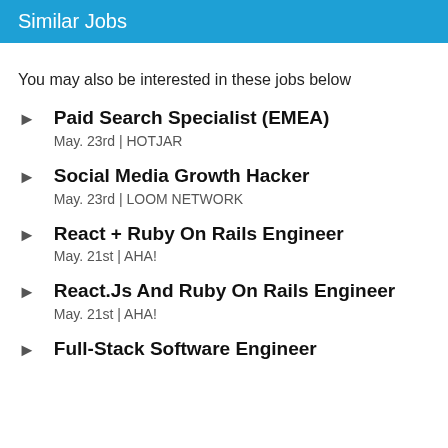Similar Jobs
You may also be interested in these jobs below
Paid Search Specialist (EMEA)
May. 23rd | HOTJAR
Social Media Growth Hacker
May. 23rd | LOOM NETWORK
React + Ruby On Rails Engineer
May. 21st | AHA!
React.Js And Ruby On Rails Engineer
May. 21st | AHA!
Full-Stack Software Engineer